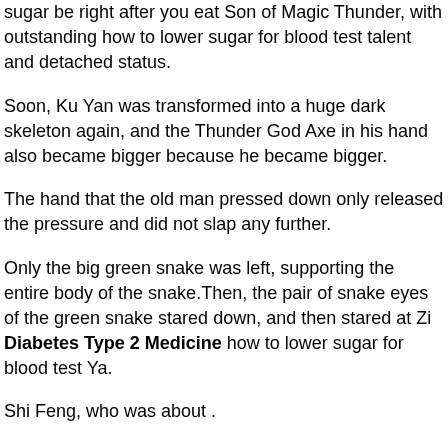sugar be right after you eat Son of Magic Thunder, with outstanding how to lower sugar for blood test talent and detached status.
Soon, Ku Yan was transformed into a huge dark skeleton again, and the Thunder God Axe in his hand also became bigger because he became bigger.
The hand that the old man pressed down only released the pressure and did not slap any further.
Only the big green snake was left, supporting the entire body of the snake.Then, the pair of snake eyes of the green snake stared down, and then stared at Zi Diabetes Type 2 Medicine how to lower sugar for blood test Ya.
Shi Feng, who was about .
Can berbwrine reduce dteroud caused high blood sugar?